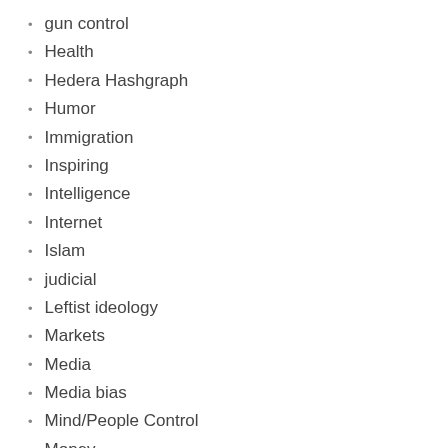gun control
Health
Hedera Hashgraph
Humor
Immigration
Inspiring
Intelligence
Internet
Islam
judicial
Leftist ideology
Markets
Media
Media bias
Mind/People Control
Money
Music